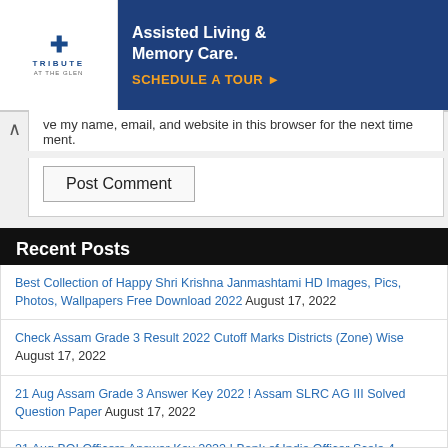[Figure (other): Advertisement banner for Tribute at the Glen - Assisted Living & Memory Care with Schedule a Tour call to action]
ve my name, email, and website in this browser for the next time
ment.
Post Comment
Recent Posts
Best Collection of Happy Shri Krishna Janmashtami HD Images, Pics, Photos, Wallpapers Free Download 2022 August 17, 2022
Check Assam Grade 3 Result 2022 Cutoff Marks Districts (Zone) Wise August 17, 2022
21 Aug Assam Grade 3 Answer Key 2022 ! Assam SLRC AG III Solved Question Paper August 17, 2022
21 Aug BOI Officers Answer Key 2022 ! Bank of India Officer Scale 4 Solved Paper August 17, 2022
21 Aug UPPSC APO Answer Key 2022 PDF Download ! Uttar Pradesh Assistant Prosecution Officer Solved OMR Sheet August 17, 2022